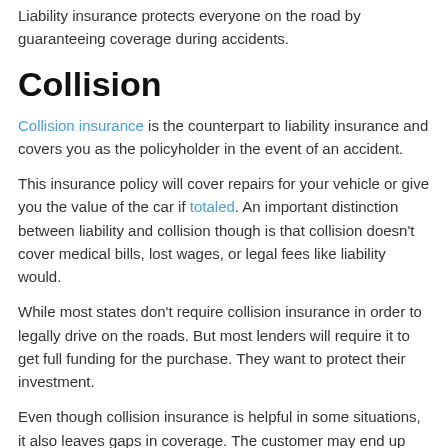Liability insurance protects everyone on the road by guaranteeing coverage during accidents.
Collision
Collision insurance is the counterpart to liability insurance and covers you as the policyholder in the event of an accident.
This insurance policy will cover repairs for your vehicle or give you the value of the car if totaled. An important distinction between liability and collision though is that collision doesn't cover medical bills, lost wages, or legal fees like liability would.
While most states don't require collision insurance in order to legally drive on the roads. But most lenders will require it to get full funding for the purchase. They want to protect their investment.
Even though collision insurance is helpful in some situations, it also leaves gaps in coverage. The customer may end up paying a large portion of